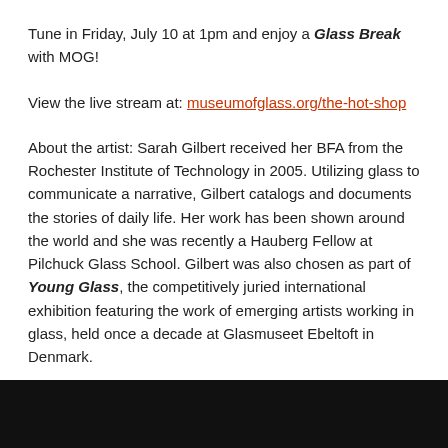Tune in Friday, July 10 at 1pm and enjoy a Glass Break with MOG!
View the live stream at: museumofglass.org/the-hot-shop
About the artist: Sarah Gilbert received her BFA from the Rochester Institute of Technology in 2005. Utilizing glass to communicate a narrative, Gilbert catalogs and documents the stories of daily life. Her work has been shown around the world and she was recently a Hauberg Fellow at Pilchuck Glass School. Gilbert was also chosen as part of Young Glass, the competitively juried international exhibition featuring the work of emerging artists working in glass, held once a decade at Glasmuseet Ebeltoft in Denmark.
Learn more about Gilbert and follow her work at:
sarahgilbertglass.com
[Figure (photo): Dark/black image strip at the bottom of the page]